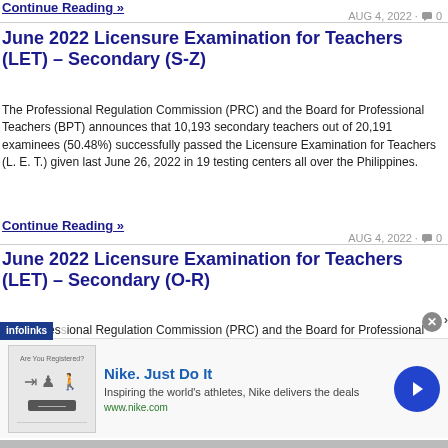Continue Reading »
AUG 4, 2022 · 0
June 2022 Licensure Examination for Teachers (LET) – Secondary (S-Z)
The Professional Regulation Commission (PRC) and the Board for Professional Teachers (BPT) announces that 10,193 secondary teachers out of 20,191 examinees (50.48%) successfully passed the Licensure Examination for Teachers (L. E. T.) given last June 26, 2022 in 19 testing centers all over the Philippines.
Continue Reading »
AUG 4, 2022 · 0
June 2022 Licensure Examination for Teachers (LET) – Secondary (O-R)
The Professional Regulation Commission (PRC) and the Board for Professional
[Figure (screenshot): Nike advertisement banner with infolinks overlay. Shows Nike logo area with 'Are You Registered?' text, Nike. Just Do It headline, tagline 'Inspiring the world's athletes, Nike delivers the deals', www.nike.com URL, and a blue circular arrow button.]